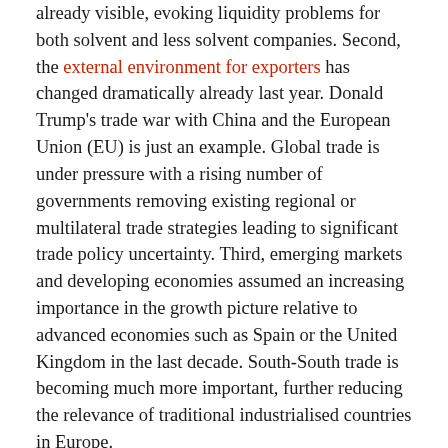already visible, evoking liquidity problems for both solvent and less solvent companies. Second, the external environment for exporters has changed dramatically already last year. Donald Trump's trade war with China and the European Union (EU) is just an example. Global trade is under pressure with a rising number of governments removing existing regional or multilateral trade strategies leading to significant trade policy uncertainty. Third, emerging markets and developing economies assumed an increasing importance in the growth picture relative to advanced economies such as Spain or the United Kingdom in the last decade. South-South trade is becoming much more important, further reducing the relevance of traditional industrialised countries in Europe.
Public responses in Europe raise hope for the economy: Many EU governments understand that particularly small and medium-sized exporters face direct damage as a result of the coronavirus outbreaks. The flow of credit is constrained: Potential borrowers are not able to receive, for example, export finance loans from commercial banks even if they indicate a willingness to put up more collateral than demanded. SMEs are at particular risk